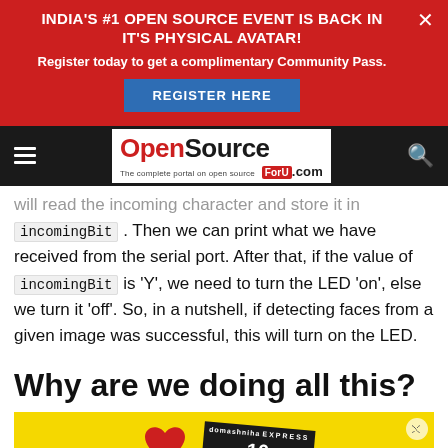[Figure (screenshot): Red promotional banner: INDIA'S #1 OPEN SOURCE EVENT IS BACK IN IT'S PHYSICAL AVATAR! with a Register Here blue button and close X]
[Figure (screenshot): OpenSource For U website navigation bar with hamburger menu, logo, and search icon]
will read the incoming character and store it in incomingBit . Then we can print what we have received from the serial port. After that, if the value of incomingBit is 'Y', we need to turn the LED 'on', else we turn it 'off'. So, in a nutshell, if detecting faces from a given image was successful, this will turn on the LED.
Why are we doing all this?
[Figure (screenshot): Yellow advertisement banner with red heart and newspaper/express logo]
I am sure a   we